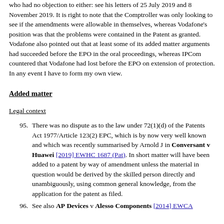who had no objection to either: see his letters of 25 July 2019 and 8 November 2019. It is right to note that the Comptroller was only looking to see if the amendments were allowable in themselves, whereas Vodafone's position was that the problems were contained in the Patent as granted. Vodafone also pointed out that at least some of its added matter arguments had succeeded before the EPO in the oral proceedings, whereas IPCom countered that Vodafone had lost before the EPO on extension of protection. In any event I have to form my own view.
Added matter
Legal context
95. There was no dispute as to the law under 72(1)(d) of the Patents Act 1977/Article 123(2) EPC, which is by now very well known and which was recently summarised by Arnold J in Conversant v Huawei [2019] EWHC 1687 (Pat). In short matter will have been added to a patent by way of amendment unless the material in question would be derived by the skilled person directly and unambiguously, using common general knowledge, from the application for the patent as filed.
96. See also AP Devices v Alesso Components [2014] EWCA...